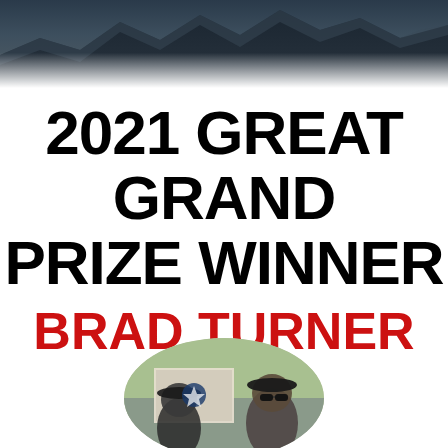[Figure (photo): Dark landscape/mountain photo banner at the top of the page]
2021 GREAT GRAND PRIZE WINNER
BRAD TURNER
[Figure (photo): Circular cropped photo of Brad Turner at the bottom of the page]